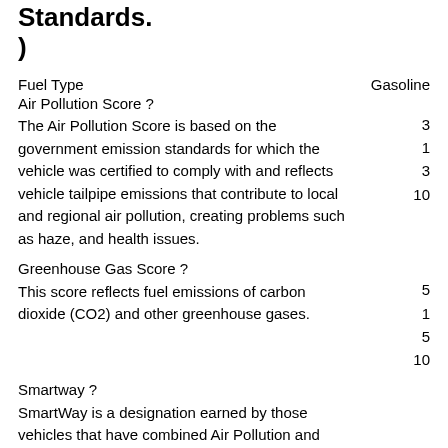Standards.
)
Fuel Type	Gasoline
Air Pollution Score ?
The Air Pollution Score is based on the government emission standards for which the vehicle was certified to comply with and reflects vehicle tailpipe emissions that contribute to local and regional air pollution, creating problems such as haze, and health issues.
3
1
3
10
Greenhouse Gas Score ?
This score reflects fuel emissions of carbon dioxide (CO2) and other greenhouse gases.
5
1
5
10
Smartway ?
SmartWay is a designation earned by those vehicles that have combined Air Pollution and Greenhouse Gas Scores that place them in the top tier (approximately the top 20%) of
N/A